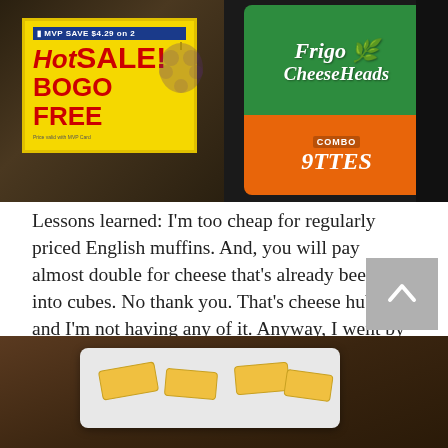[Figure (photo): Left: Grocery store sale sign on yellow background reading MVP SAVE $4.29 on 2, Hot SALE! BOGO FREE in red text. Right: Frigo CheeseHeads Combo product package in green and orange.]
Lessons learned: I'm too cheap for regularly priced English muffins. And, you will pay almost double for cheese that's already been cut into cubes. No thank you. That's cheese hubris and I'm not having any of it. Anyway, I went by Ashley's list and let the child pick some variations – type of cheese, pasta sauce, etc. And she did seem to be into it.
[Figure (photo): Bottom photo showing a white baking tray with cheese stick pieces on a dark wooden surface.]